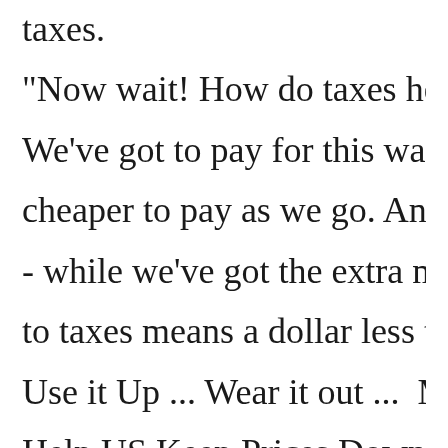taxes.
"Now wait! How do taxes help keep p
We've got to pay for this war sooner o
cheaper to pay as we go. And it's bette
- while we've got the extra money to d
to taxes means a dollar less to boost pr
Use it Up ... Wear it out ...  Make it do
Help US Keep Prices Down
A United States war message prepare